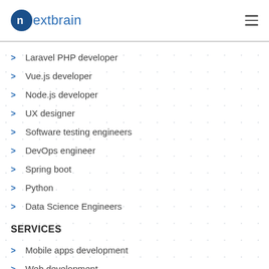nextbrain
Laravel PHP developer
Vue.js developer
Node.js developer
UX designer
Software testing engineers
DevOps engineer
Spring boot
Python
Data Science Engineers
SERVICES
Mobile apps development
Web development